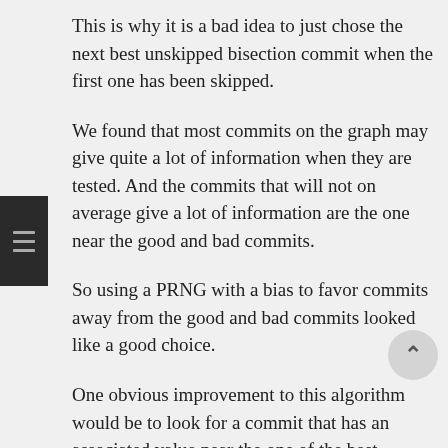This is why it is a bad idea to just chose the next best unskipped bisection commit when the first one has been skipped.
We found that most commits on the graph may give quite a lot of information when they are tested. And the commits that will not on average give a lot of information are the one near the good and bad commits.
So using a PRNG with a bias to favor commits away from the good and bad commits looked like a good choice.
One obvious improvement to this algorithm would be to look for a commit that has an associated value near the one of the best bisection commit, and that is on another branch, before using the PRNG. Because if such a commit exists, then it is not very likely to be untestable too, so it will probably give more information than a nearly randomly chosen one.